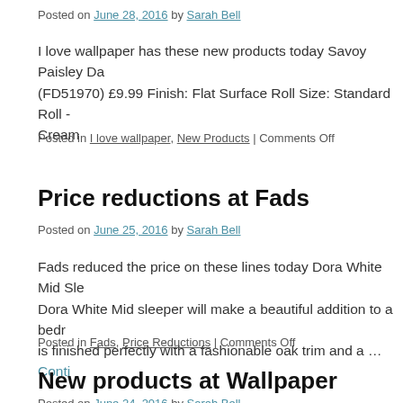Posted on June 28, 2016 by Sarah Bell
I love wallpaper has these new products today Savoy Paisley Da (FD51970) £9.99 Finish: Flat Surface Roll Size: Standard Roll - Cream
Posted in I love wallpaper, New Products | Comments Off
Price reductions at Fads
Posted on June 25, 2016 by Sarah Bell
Fads reduced the price on these lines today Dora White Mid Sle Dora White Mid sleeper will make a beautiful addition to a bedr is finished perfectly with a fashionable oak trim and a … Conti
Posted in Fads, Price Reductions | Comments Off
New products at Wallpaper
Posted on June 24, 2016 by Sarah Bell